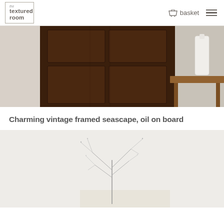the textured room — basket menu
[Figure (photo): Dark antique wooden cabinet with paneled doors, a white ceramic bottle sitting on a small rustic wooden side table to the right, photographed against a light background]
Charming vintage framed seascape, oil on board
[Figure (photo): Delicate dried branch or twig arrangement in a small vase or block, photographed against a light grey/white wall background]